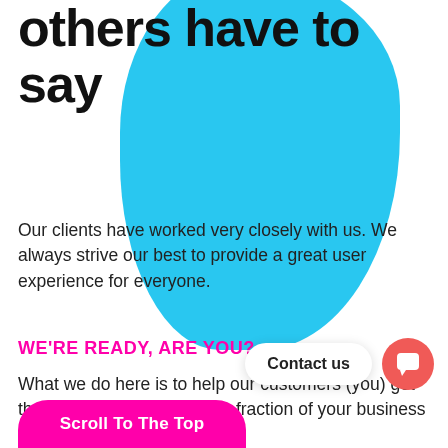others have to say
[Figure (illustration): Large teal/cyan organic blob shape in the upper right background area]
Our clients have worked very closely with us. We always strive our best to provide a great user experience for everyone.
WE'RE READY, ARE YOU?
What we do here is to help our customers (you) get the result you want at a tiny fraction of your business revenue.
Contact us
Scroll To The Top